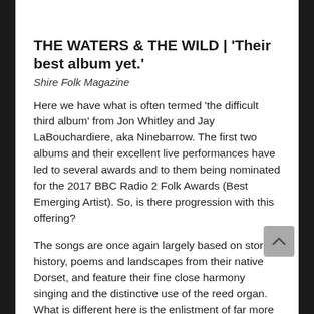THE WATERS & THE WILD | 'Their best album yet.'
Shire Folk Magazine
Here we have what is often termed 'the difficult third album' from Jon Whitley and Jay LaBouchardiere, aka Ninebarrow. The first two albums and their excellent live performances have led to several awards and to them being nominated for the 2017 BBC Radio 2 Folk Awards (Best Emerging Artist). So, is there progression with this offering?
The songs are once again largely based on stories, history, poems and landscapes from their native Dorset, and feature their fine close harmony singing and the distinctive use of the reed organ. What is different here is the enlistment of far more guest musicians, which gives the whole album a much deeper and richer